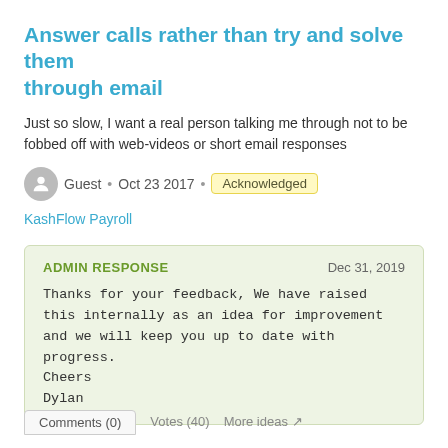Answer calls rather than try and solve them through email
Just so slow, I want a real person talking me through not to be fobbed off with web-videos or short email responses
Guest • Oct 23 2017 • Acknowledged
KashFlow Payroll
ADMIN RESPONSE
Dec 31, 2019
Thanks for your feedback, We have raised this internally as an idea for improvement and we will keep you up to date with progress.
Cheers
Dylan